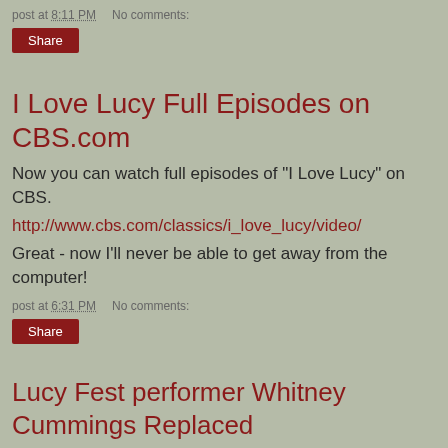post at 8:11 PM   No comments:
Share
I Love Lucy Full Episodes on CBS.com
Now you can watch full episodes of "I Love Lucy" on CBS.
http://www.cbs.com/classics/i_love_lucy/video/
Great - now I'll never be able to get away from the computer!
post at 6:31 PM   No comments:
Share
Lucy Fest performer Whitney Cummings Replaced
Networks Pull Cummings from Lucy Fest; Poundstone,